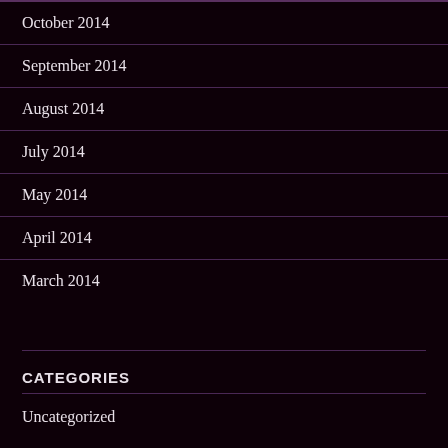October 2014
September 2014
August 2014
July 2014
May 2014
April 2014
March 2014
CATEGORIES
Uncategorized
META